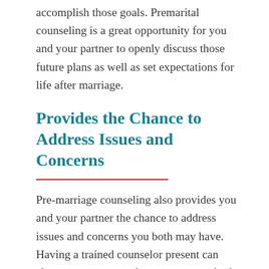accomplish those goals. Premarital counseling is a great opportunity for you and your partner to openly discuss those future plans as well as set expectations for life after marriage.
Provides the Chance to Address Issues and Concerns
Pre-marriage counseling also provides you and your partner the chance to address issues and concerns you both may have. Having a trained counselor present can also serve as a neutral party to ensure both you and your partner are equally heard and understood. Expressing any concerns to your partner and your premarital counselor allows you both to confront and resolve issues early on before it's too late. Premarital counseling also sets the